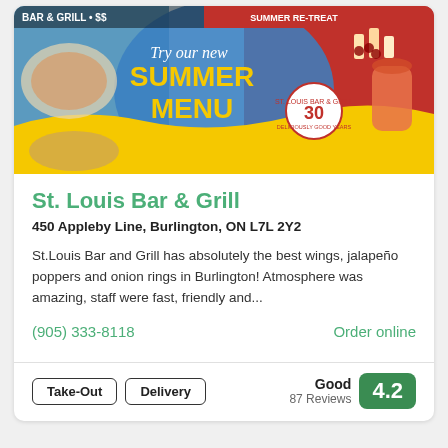[Figure (photo): St. Louis Bar & Grill summer menu promotional banner showing food dishes, drinks, and summer menu advertisement with '30 years' logo]
St. Louis Bar & Grill
450 Appleby Line, Burlington, ON L7L 2Y2
St.Louis Bar and Grill has absolutely the best wings, jalapeño poppers and onion rings in Burlington! Atmosphere was amazing, staff were fast, friendly and...
(905) 333-8118
Order online
Take-Out
Delivery
Good 87 Reviews 4.2